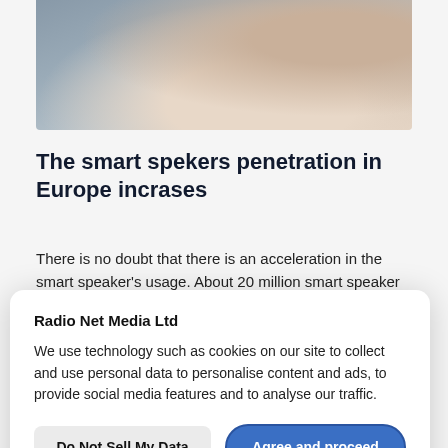[Figure (photo): Blurred photo of a person sitting on a couch holding a mug, photographed from behind/side]
The smart spekers penetration in Europe incrases
There is no doubt that there is an acceleration in the smart speaker's usage. About 20 million smart speaker
Radio Net Media Ltd
We use technology such as cookies on our site to collect and use personal data to personalise content and ads, to provide social media features and to analyse our traffic.
Do Not Sell My Data
Agree and proceed
Powered by OniConsent